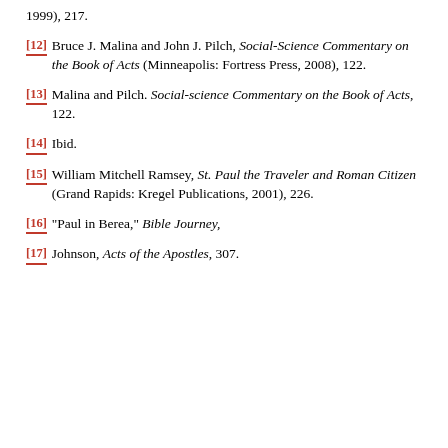1999), 217.
[12] Bruce J. Malina and John J. Pilch, Social-Science Commentary on the Book of Acts (Minneapolis: Fortress Press, 2008), 122.
[13] Malina and Pilch. Social-science Commentary on the Book of Acts, 122.
[14] Ibid.
[15] William Mitchell Ramsey, St. Paul the Traveler and Roman Citizen (Grand Rapids: Kregel Publications, 2001), 226.
[16] “Paul in Berea,” Bible Journey,
[17] Johnson, Acts of the Apostles, 307.